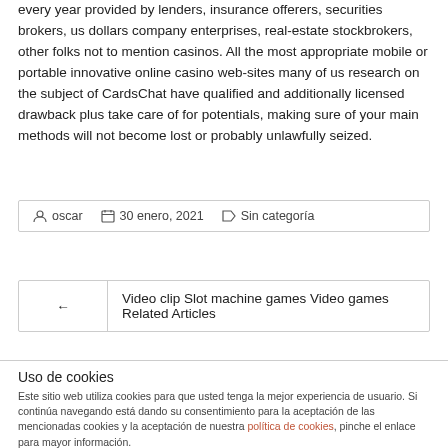every year provided by lenders, insurance offerers, securities brokers, us dollars company enterprises, real-estate stockbrokers, other folks not to mention casinos. All the most appropriate mobile or portable innovative online casino web-sites many of us research on the subject of CardsChat have qualified and additionally licensed drawback plus take care of for potentials, making sure of your main methods will not become lost or probably unlawfully seized.
oscar   30 enero, 2021   Sin categoría
← Video clip Slot machine games Video games Related Articles
Uso de cookies
Este sitio web utiliza cookies para que usted tenga la mejor experiencia de usuario. Si continúa navegando está dando su consentimiento para la aceptación de las mencionadas cookies y la aceptación de nuestra política de cookies, pinche el enlace para mayor información.
ACEPTAR